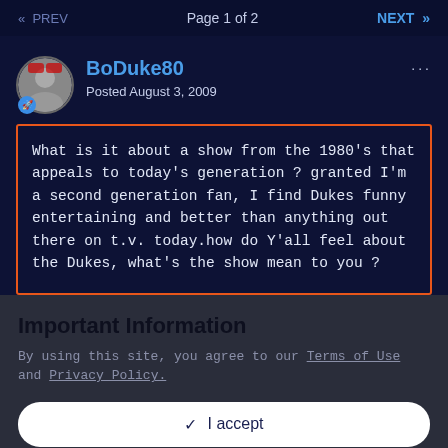<< PREV   Page 1 of 2   NEXT >>
BoDuke80
Posted August 3, 2009
What is it about a show from the 1980's that appeals to today's generation ? granted I'm a second generation fan, I find Dukes funny entertaining and better than anything out there on t.v. today.how do Y'all feel about the Dukes, what's the show mean to you ?
Important Information
By using this site, you agree to our Terms of Use and Privacy Policy.
✓ I accept